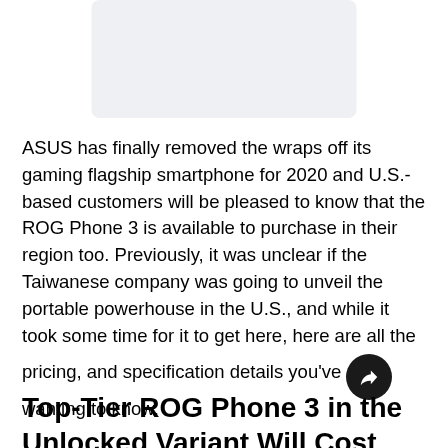[Figure (other): Light gray placeholder image box with rounded corners]
ASUS has finally removed the wraps off its gaming flagship smartphone for 2020 and U.S.-based customers will be pleased to know that the ROG Phone 3 is available to purchase in their region too. Previously, it was unclear if the Taiwanese company was going to unveil the portable powerhouse in the U.S., and while it took some time for it to get here, here are all the pricing, and specification details you've been wanting to know.
Top-Tier ROG Phone 3 in the Unlocked Variant Will Cost